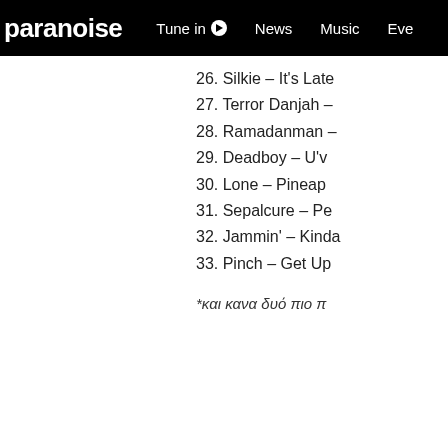paranoise | Tune in | News | Music | Eve...
26. Silkie – It's Late...
27. Terror Danjah –...
28. Ramadanman –...
29. Deadboy – U'v...
30. Lone – Pineapp...
31. Sepalcure – Pe...
32. Jammin' – Kinda...
33. Pinch – Get Up...
*και κανα δυό πιο π...